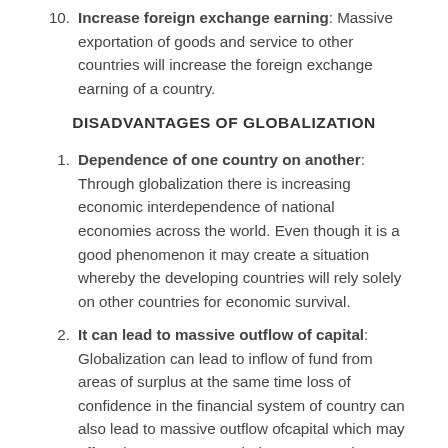10. Increase foreign exchange earning: Massive exportation of goods and service to other countries will increase the foreign exchange earning of a country.
DISADVANTAGES OF GLOBALIZATION
1. Dependence of one country on another: Through globalization there is increasing economic interdependence of national economies across the world. Even though it is a good phenomenon it may create a situation whereby the developing countries will rely solely on other countries for economic survival.
2. It can lead to massive outflow of capital: Globalization can lead to inflow of fund from areas of surplus at the same time loss of confidence in the financial system of country can also lead to massive outflow ofcapital which may affect the economy as whole. For example, Nigerian economy experienced massive outflow of capital some years ago which almost cripple the